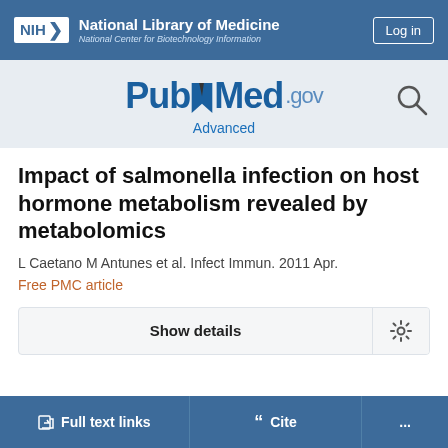[Figure (logo): NIH National Library of Medicine / National Center for Biotechnology Information header bar with Log in button]
[Figure (logo): PubMed.gov logo with Advanced search link and search icon]
Impact of salmonella infection on host hormone metabolism revealed by metabolomics
L Caetano M Antunes et al. Infect Immun. 2011 Apr.
Free PMC article
Show details
Full text links
Cite